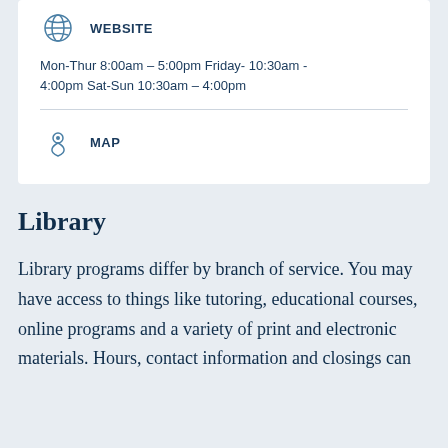WEBSITE
Mon-Thur 8:00am – 5:00pm Friday- 10:30am - 4:00pm Sat-Sun 10:30am – 4:00pm
MAP
Library
Library programs differ by branch of service. You may have access to things like tutoring, educational courses, online programs and a variety of print and electronic materials. Hours, contact information and closings can